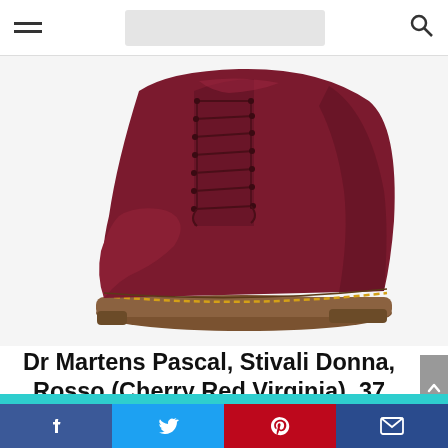Navigation header with hamburger menu, logo placeholder, and search icon
[Figure (photo): Dr Martens Pascal cherry red Virginia leather lace-up boot with yellow welt stitching and chunky brown sole, shown at an angle on white background]
Dr Martens Pascal, Stivali Donna, Rosso (Cherry Red Virginia), 37 EU (4 UK)
[Figure (infographic): Social share bar with Facebook, Twitter, Pinterest, and email buttons on a teal background strip]